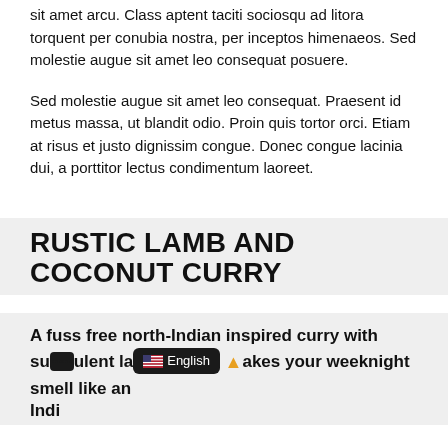sit amet arcu. Class aptent taciti sociosqu ad litora torquent per conubia nostra, per inceptos himenaeos. Sed molestie augue sit amet leo consequat posuere.
Sed molestie augue sit amet leo consequat. Praesent id metus massa, ut blandit odio. Proin quis tortor orci. Etiam at risus et justo dignissim congue. Donec congue lacinia dui, a porttitor lectus condimentum laoreet.
RUSTIC LAMB AND COCONUT CURRY
A fuss free north-Indian inspired curry with succulent lamb pieces and a creamy coconut and spice [English overlay] akes your weeknight smell like an Indi...